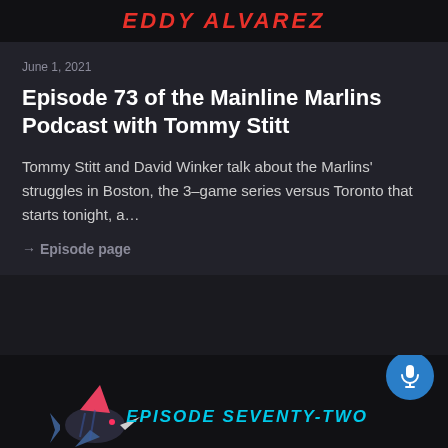EDDY ALVAREZ
June 1, 2021
Episode 73 of the Mainline Marlins Podcast with Tommy Stitt
Tommy Stitt and David Winker talk about the Marlins' struggles in Boston, the 3-game series versus Toronto that starts tonight, a…
→ Episode page
[Figure (illustration): Bottom banner with Marlins marlin fish logo illustration and text EPISODE SEVENTY-TWO in cyan, with blue microphone button]